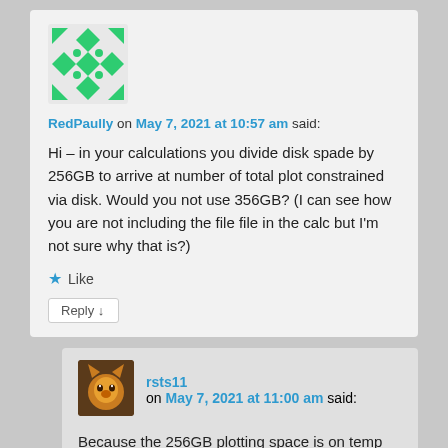[Figure (illustration): Geometric green and white avatar icon for user RedPaully]
RedPaully on May 7, 2021 at 10:57 am said:
Hi – in your calculations you divide disk spade by 256GB to arrive at number of total plot constrained via disk. Would you not use 356GB? (I can see how you are not including the file file in the calc but I'm not sure why that is?)
★ Like
Reply ↓
[Figure (photo): Small avatar photo of user rsts11, showing a cartoon fox character]
rsts11 on May 7, 2021 at 11:00 am said:
Because the 256GB plotting space is on temp space (NVMe/PCIe/SSD usually) and